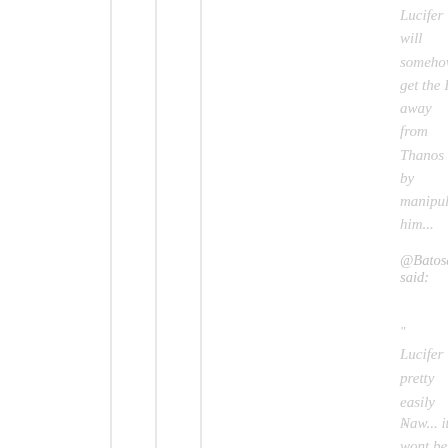Lucifer will somehow get the IG away from Thanos by manipulating him...
@Batosaims7 said:
" Lucifer pretty easily "
Naw... it wont be